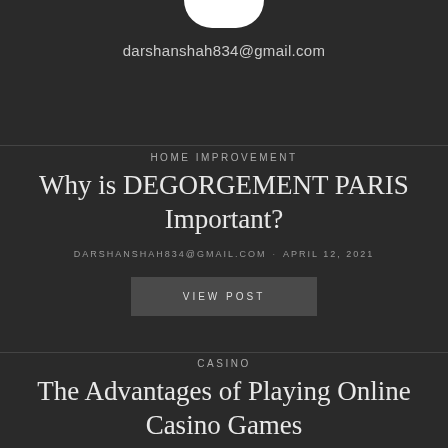[Figure (illustration): White avatar/profile icon partially visible at top center of page]
darshanshah834@gmail.com
HOME IMPROVEMENT
Why is DEGORGEMENT PARIS Important?
DARSHANSHAH834@GMAIL.COM · APRIL 12, 2021
VIEW POST
CASINO
The Advantages of Playing Online Casino Games